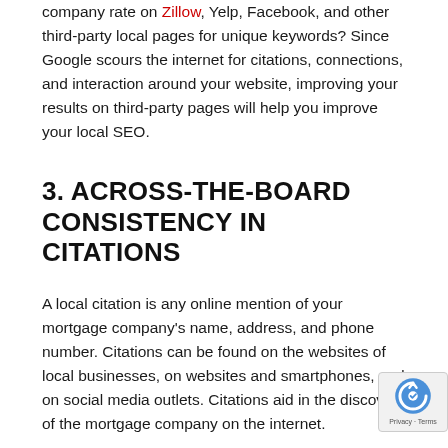company rate on Zillow, Yelp, Facebook, and other third-party local pages for unique keywords? Since Google scours the internet for citations, connections, and interaction around your website, improving your results on third-party pages will help you improve your local SEO.
3. ACROSS-THE-BOARD CONSISTENCY IN CITATIONS
A local citation is any online mention of your mortgage company's name, address, and phone number. Citations can be found on the websites of local businesses, on websites and smartphones, and on social media outlets. Citations aid in the discovery of the mortgage company on the internet.